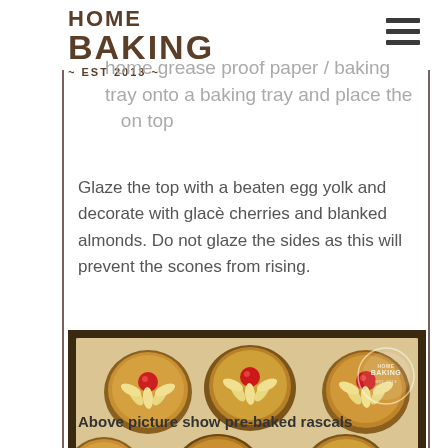HOME BAKING ~ EST 2013 ~
home grease proof paper / baking tray onto a baking tray and place the ... on top
Glaze the top with a beaten egg yolk and decorate with glacè cherries and blanked almonds. Do not glaze the sides as this will prevent the scones from rising.
[Figure (photo): Pre-baked rascal scones on a baking tray lined with parchment paper. Each scone is topped with a glacé cherry in the center and surrounded by blanched almonds arranged like petals. A Home Baking watermark circle is visible in the top right corner of the photo.]
Above picture show pre-baked rascals